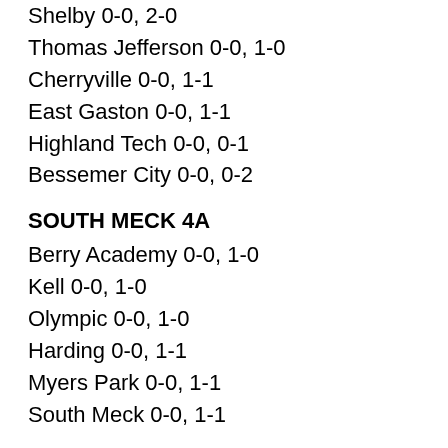Shelby 0-0, 2-0
Thomas Jefferson 0-0, 1-0
Cherryville 0-0, 1-1
East Gaston 0-0, 1-1
Highland Tech 0-0, 0-1
Bessemer City 0-0, 0-2
SOUTH MECK 4A
Berry Academy 0-0, 1-0
Kell 0-0, 1-0
Olympic 0-0, 1-0
Harding 0-0, 1-1
Myers Park 0-0, 1-1
South Meck 0-0, 1-1
SOUTHWESTERN 4A
Catholic 0-0, 2-0
Butler 0-0, 1-1
Providence 0-0, 1-1
Garinger 0-0, 0-1